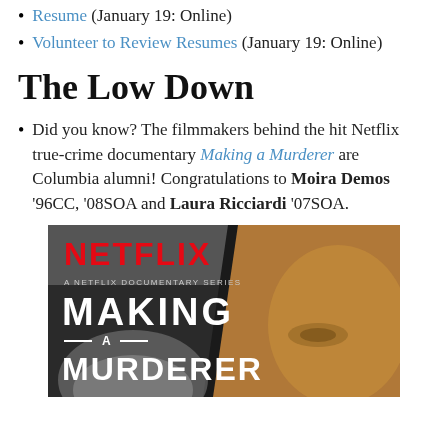Resume (January 19: Online)
Volunteer to Review Resumes (January 19: Online)
The Low Down
Did you know? The filmmakers behind the hit Netflix true-crime documentary Making a Murderer are Columbia alumni! Congratulations to Moira Demos '96CC, '08SOA and Laura Ricciardi '07SOA.
[Figure (photo): Netflix promotional image for 'Making a Murderer' documentary series, showing the Netflix logo in red, the title 'Making a Murderer' in white bold text on a dark background, with a face visible in the background.]